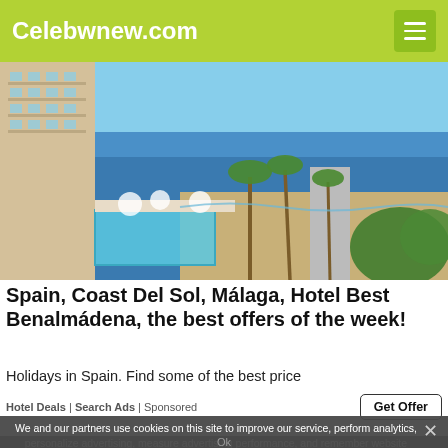Celebwnew.com
[Figure (photo): Aerial view of Hotel Best Benalmádena on the Costa del Sol, Spain. A tall hotel building is visible on the left, with swimming pools, palm trees, a beachfront promenade, and the blue Mediterranean Sea in the background.]
Spain, Coast Del Sol, Málaga, Hotel Best Benalmádena, the best offers of the week!
Holidays in Spain. Find some of the best price
Hotel Deals | Search Ads | Sponsored
Get Offer
We and our partners use cookies on this site to improve our service, perform analytics, personalize advertising, measure advertising performance, and remember website preferences.
Ok